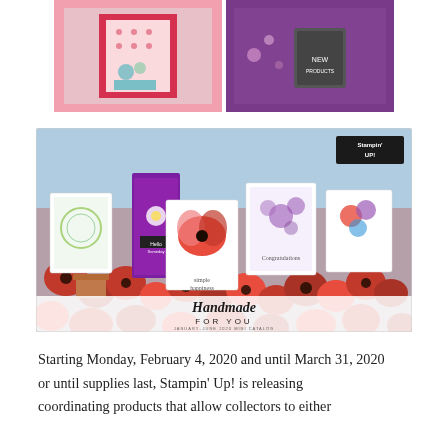[Figure (photo): Two craft/stamp product images side by side on pink and purple backgrounds, showing handmade cards and stamp products.]
[Figure (photo): Stampin' Up! January–June 2020 Mini Catalog cover showing handmade greeting cards displayed among red poppy flowers with text 'Handmade for You'.]
Starting Monday, February 4, 2020 and until March 31, 2020 or until supplies last, Stampin' Up! is releasing coordinating products that allow collectors to either